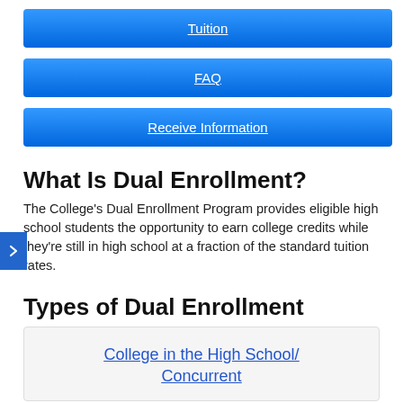Tuition
FAQ
Receive Information
What Is Dual Enrollment?
The College's Dual Enrollment Program provides eligible high school students the opportunity to earn college credits while they're still in high school at a fraction of the standard tuition rates.
Types of Dual Enrollment
College in the High School/ Concurrent